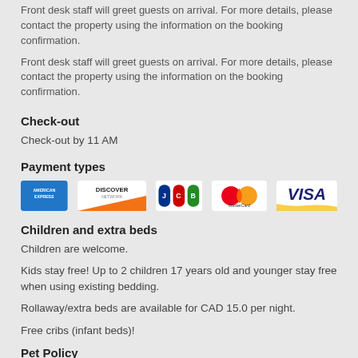Front desk staff will greet guests on arrival. For more details, please contact the property using the information on the booking confirmation.
Front desk staff will greet guests on arrival. For more details, please contact the property using the information on the booking confirmation.
Check-out
Check-out by 11 AM
Payment types
[Figure (logo): Payment method logos: American Express, Discover Network, JCB, MasterCard, Visa]
Children and extra beds
Children are welcome.
Kids stay free! Up to 2 children 17 years old and younger stay free when using existing bedding.
Rollaway/extra beds are available for CAD 15.0 per night.
Free cribs (infant beds)!
Pet Policy